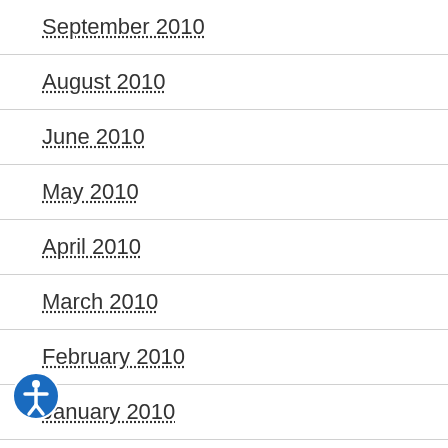September 2010
August 2010
June 2010
May 2010
April 2010
March 2010
February 2010
January 2010
December 2009